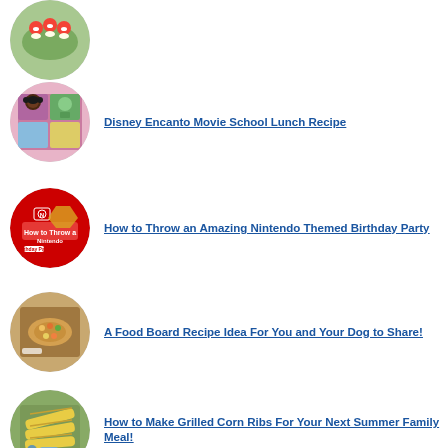[Figure (photo): Circular thumbnail of strawberry deviled eggs or similar food on a tray (partially cropped at top)]
Disney Encanto Movie School Lunch Recipe
[Figure (photo): Circular thumbnail of Disney Encanto themed school lunch bento box]
How to Throw an Amazing Nintendo Themed Birthday Party
[Figure (photo): Circular thumbnail of Nintendo themed birthday party collage with Switch logo]
A Food Board Recipe Idea For You and Your Dog to Share!
[Figure (photo): Circular thumbnail of a food board with dog bone shape and various snacks]
How to Make Grilled Corn Ribs For Your Next Summer Family Meal!
[Figure (photo): Circular thumbnail of grilled corn ribs dish]